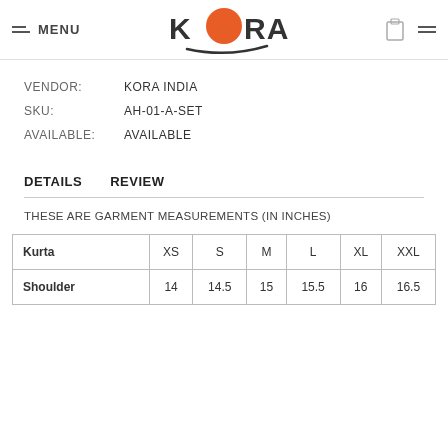MENU | KORA logo
VENDOR: KORA INDIA
SKU: AH-01-A-SET
AVAILABLE: AVAILABLE
DETAILS   REVIEW
THESE ARE GARMENT MEASUREMENTS (IN INCHES)
| Kurta | XS | S | M | L | XL | XXL |
| --- | --- | --- | --- | --- | --- | --- |
| Shoulder | 14 | 14.5 | 15 | 15.5 | 16 | 16.5 |